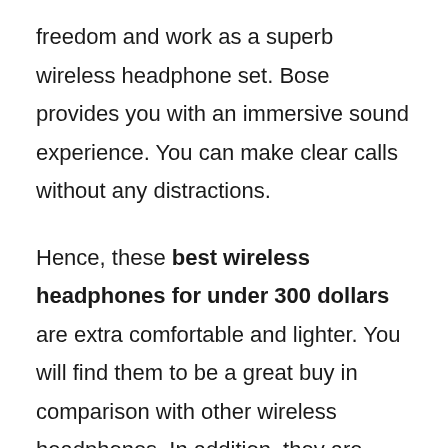freedom and work as a superb wireless headphone set. Bose provides you with an immersive sound experience. You can make clear calls without any distractions.
Hence, these best wireless headphones for under 300 dollars are extra comfortable and lighter. You will find them to be a great buy in comparison with other wireless headphones. In addition, they are manufactured with impact-resistant materials for long-lasting usage.
With Ear cup convenient controls, you can